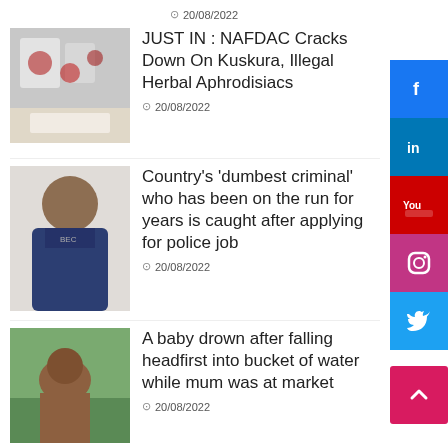20/08/2022
[Figure (photo): Bags of kuskura/herbal aphrodisiac products]
JUST IN : NAFDAC Cracks Down On Kuskura, Illegal Herbal Aphrodisiacs
20/08/2022
[Figure (photo): Mugshot of a man in a dark hoodie]
Country's 'dumbest criminal' who has been on the run for years is caught after applying for police job
20/08/2022
[Figure (photo): Baby sitting on grass]
A baby drown after falling headfirst into bucket of water while mum was at market
20/08/2022